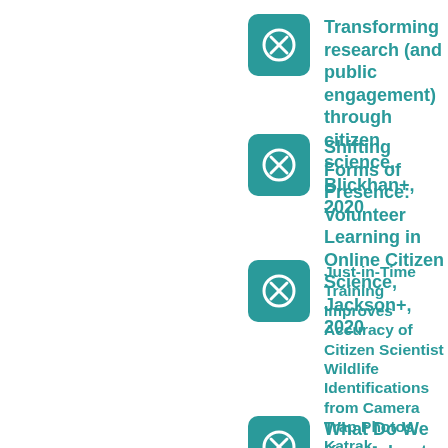Transforming research (and public engagement) through citizen science, Blickhan+, 2020
Shifting Forms of Presence: Volunteer Learning in Online Citizen Science, Jackson+, 2020
Just-in-Time Training Improves Accuracy of Citizen Scientist Wildlife Identifications from Camera Trap Photos, Katrak-Adefowora+, 2020
What Do We Know about Young